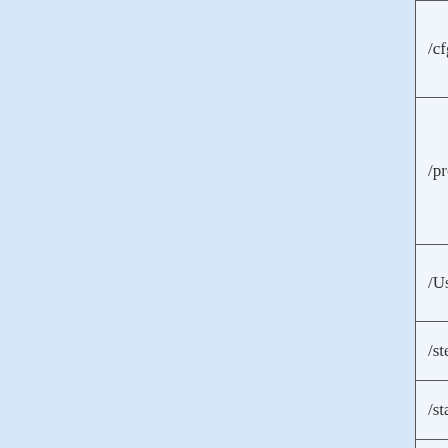| Command | Description |
| --- | --- |
| /cfg <Filename> | Start Firefox with... example: FirefoxDo... FirefoxDo... |
| /profile <Profile Folder> | Specifies t... For examp... FirefoxDo... Settings\A... Data\Moz... |
| /UseNewFirefoxDM <0 | 1> | Specifies w... = Yes. |
| /stext <Filename> | Save the F... |
| /stab <Filename> | Save the F... |
| /scomma <Filename> | Save the F... |
| /stabular <Filename> | Save the F... |
| /shtml <Filename> | Save the F... |
| /sverhtml <Filename> | Save the F... |
| /sxml <Filename> | Save the F... |